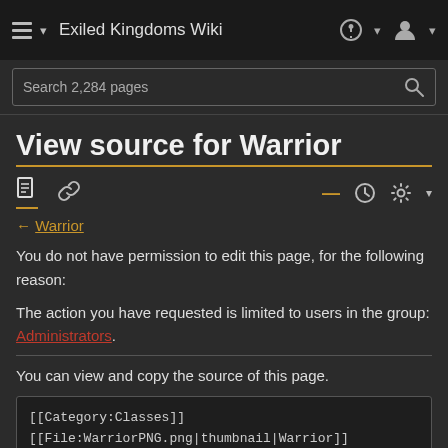Exiled Kingdoms Wiki
Search 2,284 pages
View source for Warrior
← Warrior
You do not have permission to edit this page, for the following reason:
The action you have requested is limited to users in the group: Administrators.
You can view and copy the source of this page.
[[Category:Classes]]
[[File:WarriorPNG.png|thumbnail|Warrior]]
{{Quote|In-game text|Front-line fighters, trained to use almost every weapon or armor.}}